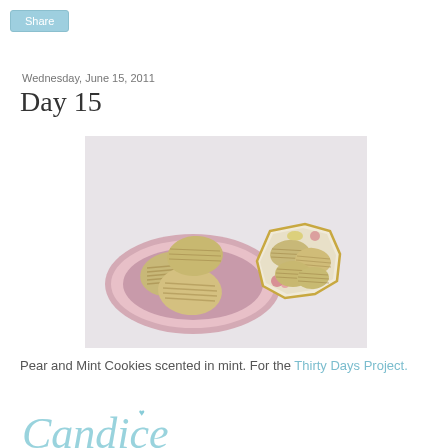Share
Wednesday, June 15, 2011
Day 15
[Figure (photo): Two plates of pear and mint cookies on a white tablecloth. The left plate is pink/rose-colored with several larger ribbed oval cookies stacked. The right plate is a decorative floral china dish with smaller ribbed oval cookies.]
Pear and Mint Cookies scented in mint. For the Thirty Days Project.
[Figure (illustration): Decorative cursive signature reading 'Candice' in light blue/teal color with a small heart above the letter i.]